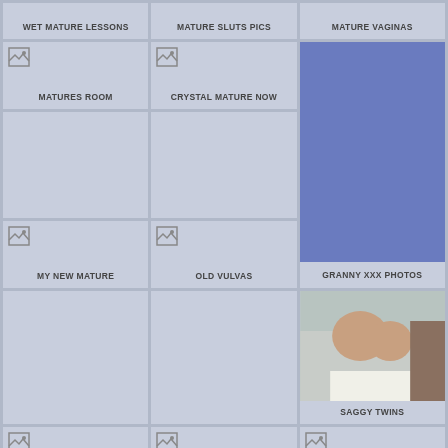WET MATURE LESSONS
MATURE SLUTS PICS
MATURE VAGINAS
MATURES ROOM
CRYSTAL MATURE NOW
[Figure (other): Blue rectangle placeholder image]
MY NEW MATURE
OLD VULVAS
GRANNY XXX PHOTOS
[Figure (photo): Photo of a woman outdoors]
SAGGY TWINS
MAMA EROTICA
CUTE MATURE SEX
MAMA NIPPLES
MATURE PORN
MATURE CASE
REAL NAKED WIFE